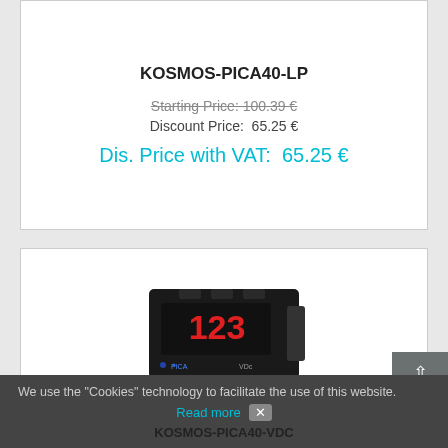KOSMOS-PICA40-LP
Starting Price: 100.39 €
Discount Price: 65.25 €
Dis. Price with VAT: 65.25 €
[Figure (photo): Black digital panel meter/indicator device showing red LED display with '123' reading and label 'VDc' on the front]
We use the "Cookies" technology to facilitate the use of this website.
Read more
KOSMOS-PICA40-VDC